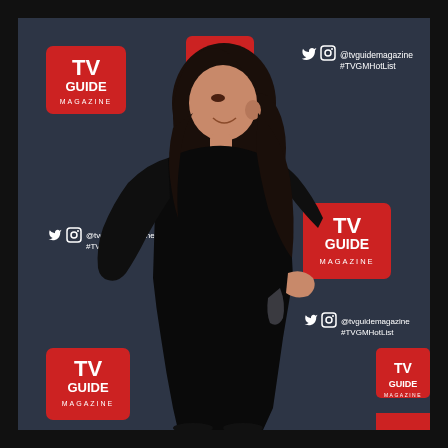[Figure (photo): A woman in a black long-sleeve form-fitting dress posing sideways and smiling at a TV Guide Magazine press event. She has long dark hair. The backdrop features repeating TV Guide Magazine logos and social media handles (@tvguidemagazine, #TVGMHotList) on a dark gray/charcoal background.]